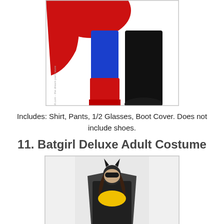[Figure (photo): Lower body of a person wearing a Superman costume — blue tights with red boot covers, a red cape visible at top, and black pants on the other leg. A watermark reads 'PartyBell.com - the dream party store' vertically on the left side.]
Includes: Shirt, Pants, 1/2 Glasses, Boot Cover. Does not include shoes.
11. Batgirl Deluxe Adult Costume
[Figure (photo): A woman wearing a Batgirl deluxe adult costume — black bodysuit with the Batman logo on the chest, black cape, bat ear headpiece, and a black mask over her eyes.]